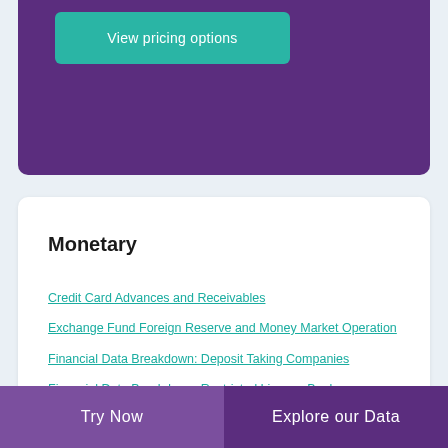View pricing options
Monetary
Credit Card Advances and Receivables
Exchange Fund Foreign Reserve and Money Market Operation
Financial Data Breakdown: Deposit Taking Companies
Financial Data Breakdown: Restricted Licence Banks
Financial System: Deposit Money Banks: Annual
Financial System: Monetary
Financial System: Monetary Authorities
Try Now    Explore our Data